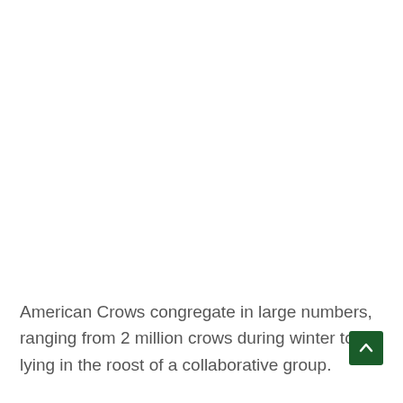American Crows congregate in large numbers, ranging from 2 million crows during winter to lying in the roost of a collaborative group.